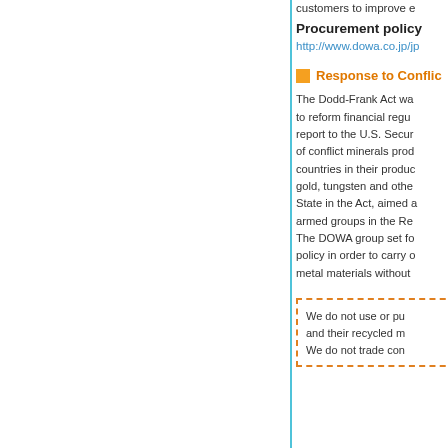customers to improve e
Procurement policy
http://www.dowa.co.jp/jp
Response to Conflic
The Dodd-Frank Act wa to reform financial regu report to the U.S. Secur of conflict minerals prod countries in their produc gold, tungsten and othe State in the Act, aimed a armed groups in the Re The DOWA group set fo policy in order to carry o metal materials without
We do not use or pu and their recycled m We do not trade con